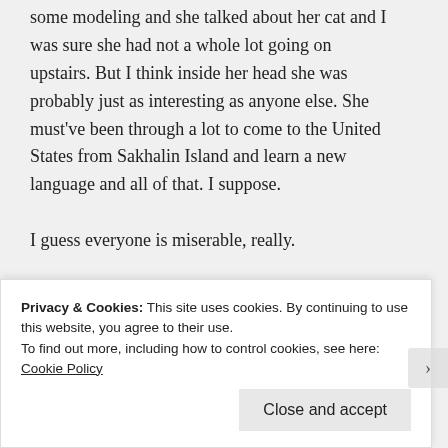some modeling and she talked about her cat and I was sure she had not a whole lot going on upstairs. But I think inside her head she was probably just as interesting as anyone else. She must've been through a lot to come to the United States from Sakhalin Island and learn a new language and all of that. I suppose.
I guess everyone is miserable, really.
Advertisements
[Figure (logo): Longreads advertisement banner — black background with red circle containing letter L and white text LONGREADS]
Privacy & Cookies: This site uses cookies. By continuing to use this website, you agree to their use.
To find out more, including how to control cookies, see here: Cookie Policy